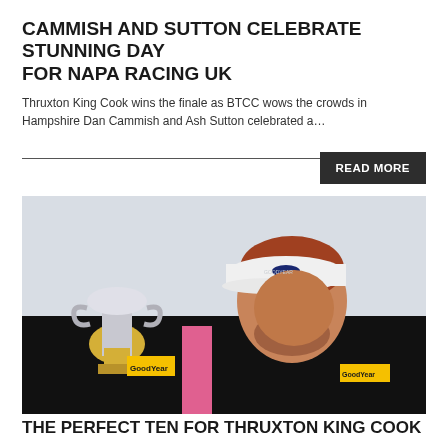CAMMISH AND SUTTON CELEBRATE STUNNING DAY FOR NAPA RACING UK
Thruxton King Cook wins the finale as BTCC wows the crowds in Hampshire Dan Cammish and Ash Sutton celebrated a…
READ MORE
[Figure (photo): Racing driver holding a trophy, wearing a black and pink race suit with Goodyear branding and a white Goodyear cap, looking down at the trophy]
THE PERFECT TEN FOR THRUXTON KING COOK